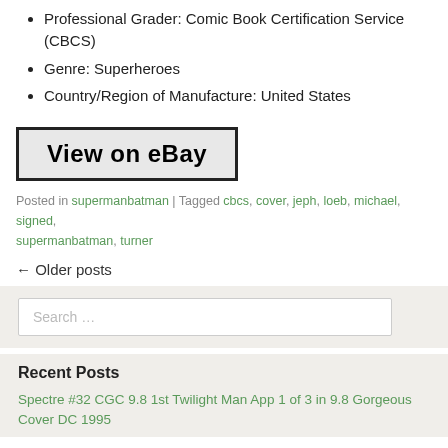Professional Grader: Comic Book Certification Service (CBCS)
Genre: Superheroes
Country/Region of Manufacture: United States
[Figure (other): View on eBay button]
Posted in supermanbatman | Tagged cbcs, cover, jeph, loeb, michael, signed, supermanbatman, turner
← Older posts
Search ...
Recent Posts
Spectre #32 CGC 9.8 1st Twilight Man App 1 of 3 in 9.8 Gorgeous Cover DC 1995